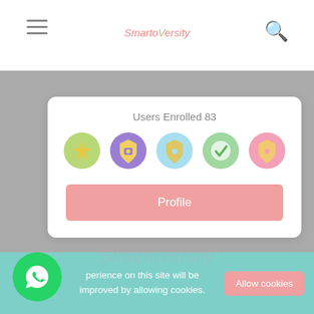SmartoVersity
Users Enrolled 83
[Figure (illustration): Row of 5 circular badge icons: green star badge, purple shield badge, blue shield badge, green checkmark badge, pink badge]
Profile
CourseContent
perience on this site will be improved by allowing cookies.
Allow cookies